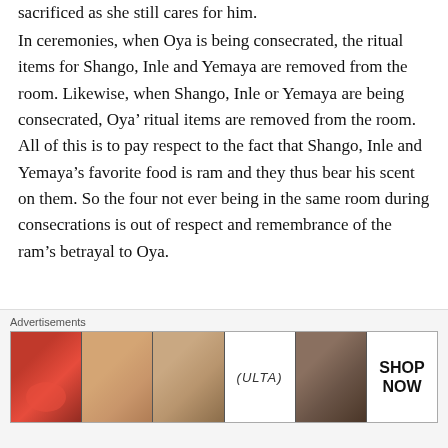sacrificed as she still cares for him.
In ceremonies, when Oya is being consecrated, the ritual items for Shango, Inle and Yemaya are removed from the room. Likewise, when Shango, Inle or Yemaya are being consecrated, Oya’ ritual items are removed from the room. All of this is to pay respect to the fact that Shango, Inle and Yemaya’s favorite food is ram and they thus bear his scent on them. So the four not ever being in the same room during consecrations is out of respect and remembrance of the ram’s betrayal to Oya.
Oshun’s Fading
[Figure (other): Advertisement banner for ULTA beauty showing makeup imagery including lips, makeup brush, eye makeup, ULTA logo, and a SHOP NOW call to action]